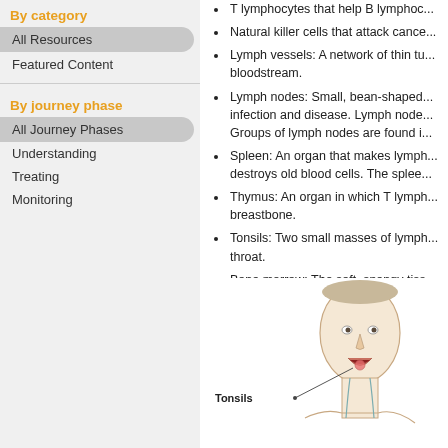By category
All Resources
Featured Content
By journey phase
All Journey Phases
Understanding
Treating
Monitoring
T lymphocytes that help B lymphoc...
Natural killer cells that attack cance...
Lymph vessels: A network of thin tu... bloodstream.
Lymph nodes: Small, bean-shaped... infection and disease. Lymph node... Groups of lymph nodes are found i...
Spleen: An organ that makes lymph... destroys old blood cells. The splee...
Thymus: An organ in which T lymph... breastbone.
Tonsils: Two small masses of lymph... throat.
Bone marrow: The soft, spongy tiss... White blood cells, red blood cells, a...
[Figure (illustration): Anatomical illustration of a human head/neck showing tonsils labeled with a callout line.]